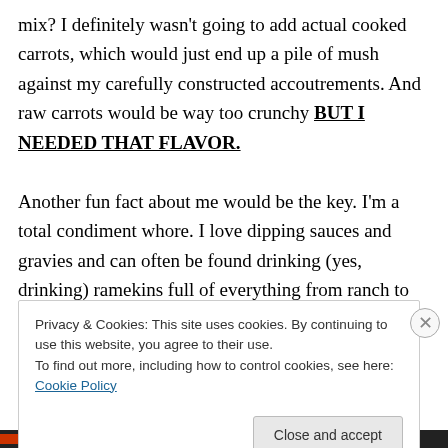mix? I definitely wasn't going to add actual cooked carrots, which would just end up a pile of mush against my carefully constructed accoutrements. And raw carrots would be way too crunchy BUT I NEEDED THAT FLAVOR.

Another fun fact about me would be the key. I'm a total condiment whore. I love dipping sauces and gravies and can often be found drinking (yes, drinking) ramekins full of everything from ranch to melted garlic butter. Mmm… garlic… butter. So, it had to be an aioli. But the only thing
Privacy & Cookies: This site uses cookies. By continuing to use this website, you agree to their use.
To find out more, including how to control cookies, see here: Cookie Policy
Close and accept